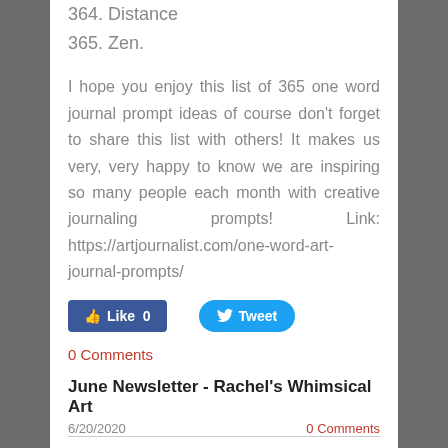364. Distance
365. Zen.
I hope you enjoy this list of 365 one word journal prompt ideas of course don't forget to share this list with others! It makes us very, very happy to know we are inspiring so many people each month with creative journaling prompts! Link: https://artjournalist.com/one-word-art-journal-prompts/
[Figure (screenshot): Social buttons: Facebook Like 0 and Twitter Tweet]
0 Comments
June Newsletter - Rachel's Whimsical Art
6/20/2020    0 Comments